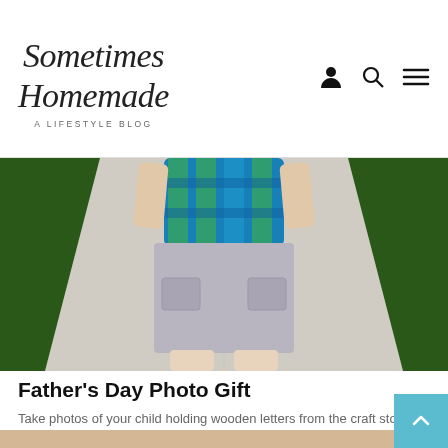Sometimes Homemade — A LIFESTYLE BLOG
[Figure (photo): Child from torso down wearing a blue/green plaid shirt and gray cargo shorts, standing on a concrete sidewalk flanked by green grass]
Father's Day Photo Gift
Take photos of your child holding wooden letters from the craft store spelling out dad for an easy and inexpensive Father's Day photo gift!   I'm struggling a little bit on how to top last year's Father's Day gift to…